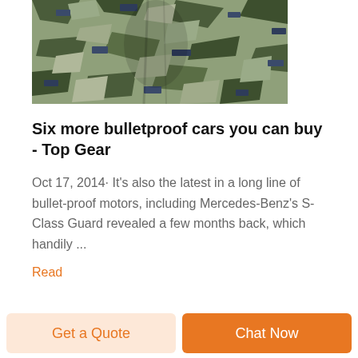[Figure (photo): Close-up photo of camouflage fabric with green, grey, and blue digital camo pattern, slightly gathered/folded in the center]
Six more bulletproof cars you can buy - Top Gear
Oct 17, 2014· It's also the latest in a long line of bullet-proof motors, including Mercedes-Benz's S-Class Guard revealed a few months back, which handily ...
Read
Get a Quote
Chat Now